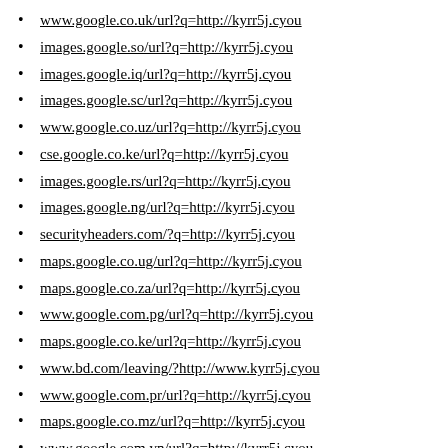www.google.co.uk/url?q=http://kyrr5j.cyou
images.google.so/url?q=http://kyrr5j.cyou
images.google.iq/url?q=http://kyrr5j.cyou
images.google.sc/url?q=http://kyrr5j.cyou
www.google.co.uz/url?q=http://kyrr5j.cyou
cse.google.co.ke/url?q=http://kyrr5j.cyou
images.google.rs/url?q=http://kyrr5j.cyou
images.google.ng/url?q=http://kyrr5j.cyou
securityheaders.com/?q=http://kyrr5j.cyou
maps.google.co.ug/url?q=http://kyrr5j.cyou
maps.google.co.za/url?q=http://kyrr5j.cyou
www.google.com.pg/url?q=http://kyrr5j.cyou
maps.google.co.ke/url?q=http://kyrr5j.cyou
www.bd.com/leaving/?http://www.kyrr5j.cyou
www.google.com.pr/url?q=http://kyrr5j.cyou
maps.google.co.mz/url?q=http://kyrr5j.cyou
www.google.com.vn/url?q=http://kyrr5j.cyou
www.schnettler.de/url?q=http://kyrr5j.cyou
www.google.com.jm/url?q=http://kyrr5j.cyou